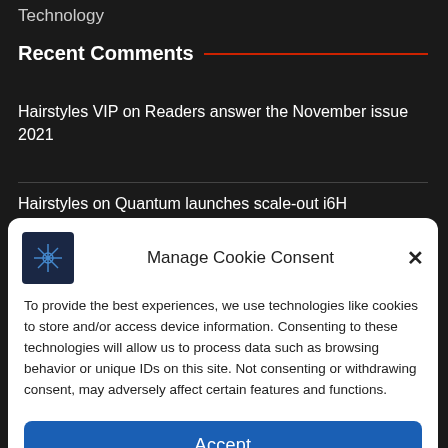Technology
Recent Comments
Hairstyles VIP on Readers answer the November issue 2021
Hairstyles on Quantum launches scale-out i6H
Manage Cookie Consent
To provide the best experiences, we use technologies like cookies to store and/or access device information. Consenting to these technologies will allow us to process data such as browsing behavior or unique IDs on this site. Not consenting or withdrawing consent, may adversely affect certain features and functions.
Accept